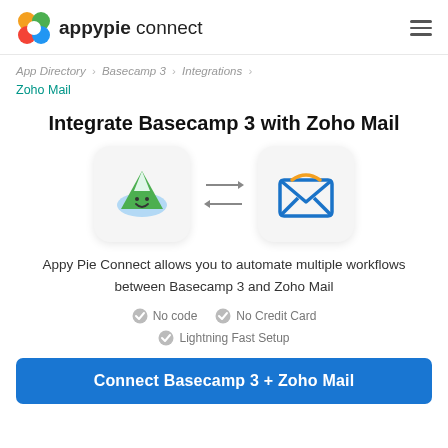appypie connect
App Directory › Basecamp 3 › Integrations › Zoho Mail
Integrate Basecamp 3 with Zoho Mail
[Figure (illustration): Basecamp 3 logo (green mountain character) and Zoho Mail logo (blue open envelope) with bidirectional arrows between them]
Appy Pie Connect allows you to automate multiple workflows between Basecamp 3 and Zoho Mail
No code
No Credit Card
Lightning Fast Setup
Connect Basecamp 3 + Zoho Mail